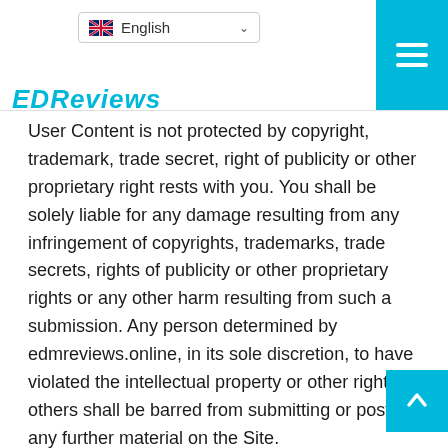EDM Reviews
User Content is not protected by copyright, trademark, trade secret, right of publicity or other proprietary right rests with you. You shall be solely liable for any damage resulting from any infringement of copyrights, trademarks, trade secrets, rights of publicity or other proprietary rights or any other harm resulting from such a submission. Any person determined by edmreviews.online, in its sole discretion, to have violated the intellectual property or other rights of others shall be barred from submitting or posting any further material on the Site.
does not generally pertain to the designated topic or theme of any Interactive Area.
contains any unsolicited or unauthorized advertising or promotional materials with respect to products or